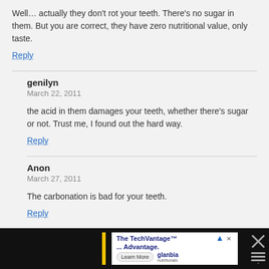Well… actually they don't rot your teeth. There's no sugar in them. But you are correct, they have zero nutritional value, only taste.
Reply
genilyn
March 22, 2011
the acid in them damages your teeth, whether there's sugar or not. Trust me, I found out the hard way.
Reply
Anon
March 27, 2011
The carbonation is bad for your teeth.
Reply
[Figure (infographic): Advertisement bar at the bottom: The TechVantage™ ... Advantage. with a Learn More button and Glanbia Nutritionals logo, flanked by dark sidebars with a yellow accent bar and a close (X) button.]